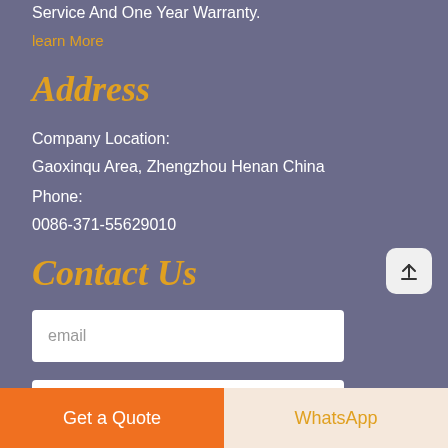Service And One Year Warranty.
learn More
Address
Company Location:
Gaoxinqu Area, Zhengzhou Henan China
Phone:
0086-371-55629010
Contact Us
email
Get a Quote
WhatsApp